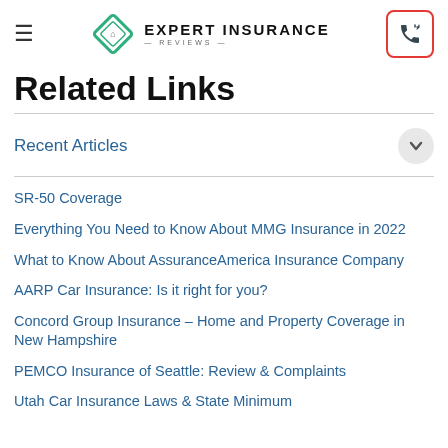Expert Insurance Reviews
Related Links
Recent Articles
SR-50 Coverage
Everything You Need to Know About MMG Insurance in 2022
What to Know About AssuranceAmerica Insurance Company
AARP Car Insurance: Is it right for you?
Concord Group Insurance – Home and Property Coverage in New Hampshire
PEMCO Insurance of Seattle: Review & Complaints
Utah Car Insurance Laws & State Minimum